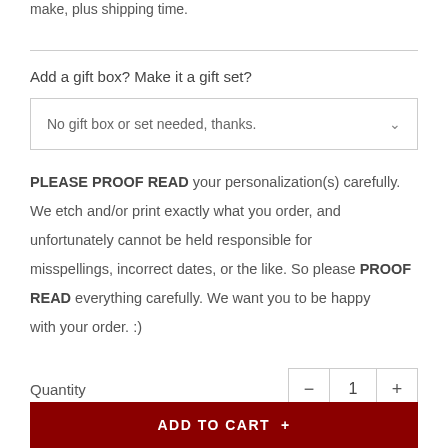make, plus shipping time.
Add a gift box? Make it a gift set?
No gift box or set needed, thanks.
PLEASE PROOF READ your personalization(s) carefully. We etch and/or print exactly what you order, and unfortunately cannot be held responsible for misspellings, incorrect dates, or the like. So please PROOF READ everything carefully. We want you to be happy with your order. :)
Quantity
1
ADD TO CART +